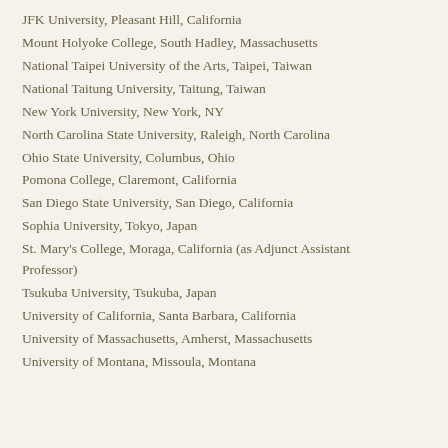JFK University, Pleasant Hill, California
Mount Holyoke College, South Hadley, Massachusetts
National Taipei University of the Arts, Taipei, Taiwan
National Taitung University, Taitung, Taiwan
New York University, New York, NY
North Carolina State University, Raleigh, North Carolina
Ohio State University, Columbus, Ohio
Pomona College, Claremont, California
San Diego State University, San Diego, California
Sophia University, Tokyo, Japan
St. Mary's College, Moraga, California (as Adjunct Assistant Professor)
Tsukuba University, Tsukuba, Japan
University of California, Santa Barbara, California
University of Massachusetts, Amherst, Massachusetts
University of Montana, Missoula, Montana